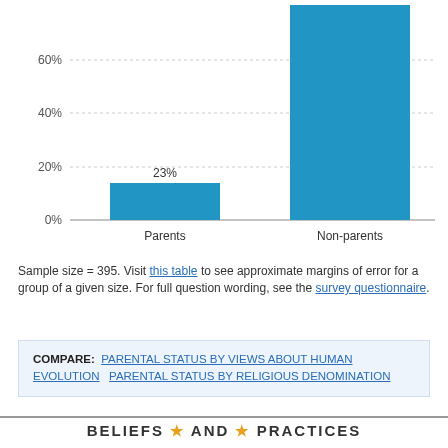[Figure (bar-chart): ]
Sample size = 395. Visit this table to see approximate margins of error for a group of a given size. For full question wording, see the survey questionnaire.
COMPARE: PARENTAL STATUS BY VIEWS ABOUT HUMAN EVOLUTION  PARENTAL STATUS BY RELIGIOUS DENOMINATION
BELIEFS AND PRACTICES